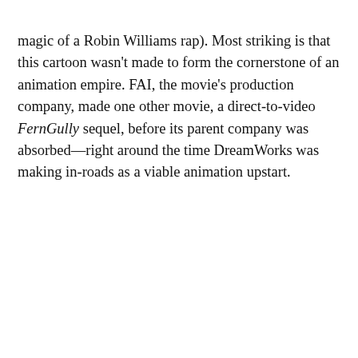magic of a Robin Williams rap). Most striking is that this cartoon wasn't made to form the cornerstone of an animation empire. FAI, the movie's production company, made one other movie, a direct-to-video FernGully sequel, before its parent company was absorbed—right around the time DreamWorks was making in-roads as a viable animation upstart.